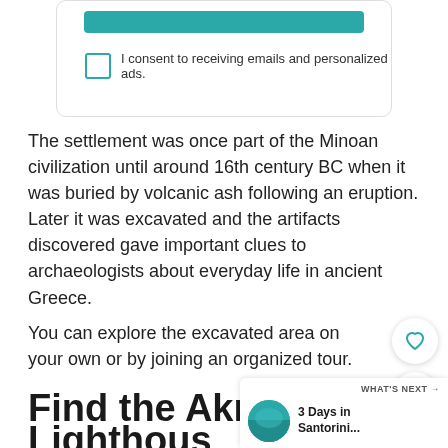[Figure (other): Consent card with teal button and checkbox: 'I consent to receiving emails and personalized ads.']
The settlement was once part of the Minoan civilization until around 16th century BC when it was buried by volcanic ash following an eruption. Later it was excavated and the artifacts discovered gave important clues to archaeologists about everyday life in ancient Greece.
You can explore the excavated area on your own or by joining an organized tour.
Find the Akrotiri Lighthouse